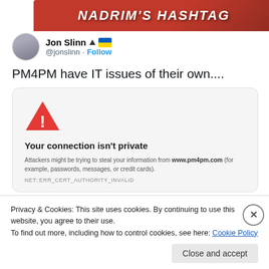[Figure (screenshot): Top banner with stylized text 'NADRIM'S HASHTAG' in white bold italic on red background]
Jon Slinn ▲ 🇺🇦 @jonslinn · Follow
PM4PM have IT issues of their own....
[Figure (screenshot): Browser 'Your connection isn't private' error page. Warning triangle icon. Text: 'Your connection isn't private. Attackers might be trying to steal your information from www.pm4pm.com (for example, passwords, messages, or credit cards). NET::ERR_CERT_AUTHORITY_INVALID']
Privacy & Cookies: This site uses cookies. By continuing to use this website, you agree to their use.
To find out more, including how to control cookies, see here: Cookie Policy
Close and accept